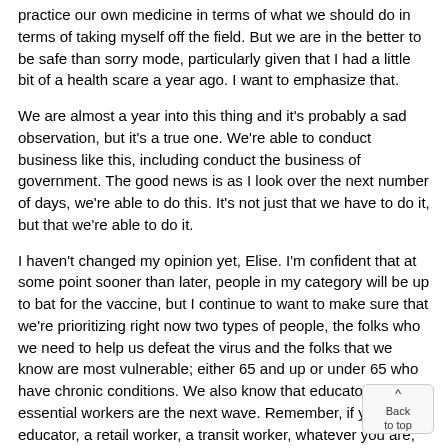practice our own medicine in terms of what we should do in terms of taking myself off the field. But we are in the better to be safe than sorry mode, particularly given that I had a little bit of a health scare a year ago. I want to emphasize that.
We are almost a year into this thing and it's probably a sad observation, but it's a true one. We're able to conduct business like this, including conduct the business of government. The good news is as I look over the next number of days, we're able to do this. It's not just that we have to do it, but that we're able to do it.
I haven't changed my opinion yet, Elise. I'm confident that at some point sooner than later, people in my category will be up to bat for the vaccine, but I continue to want to make sure that we're prioritizing right now two types of people, the folks who we need to help us defeat the virus and the folks that we know are most vulnerable; either 65 and up or under 65 who have chronic conditions. We also know that educators and essential workers are the next wave. Remember, if you're an educator, a retail worker, a transit worker, whatever you are, and you're under 65 and you've got a chronic condition, you are up to bat right now. You are eligible as we speak. I think the next wave we need to get to and I'm comfortable wa my turn in line.